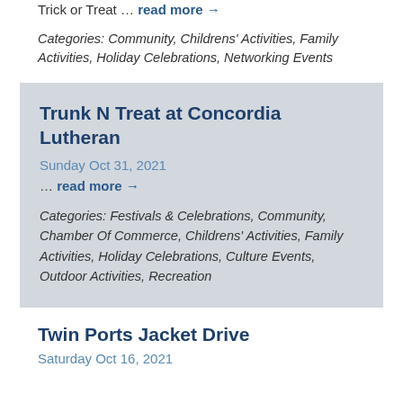Trick or Treat … read more →
Categories: Community, Childrens' Activities, Family Activities, Holiday Celebrations, Networking Events
Trunk N Treat at Concordia Lutheran
Sunday Oct 31, 2021
… read more →
Categories: Festivals & Celebrations, Community, Chamber Of Commerce, Childrens' Activities, Family Activities, Holiday Celebrations, Culture Events, Outdoor Activities, Recreation
Twin Ports Jacket Drive
Saturday Oct 16, 2021